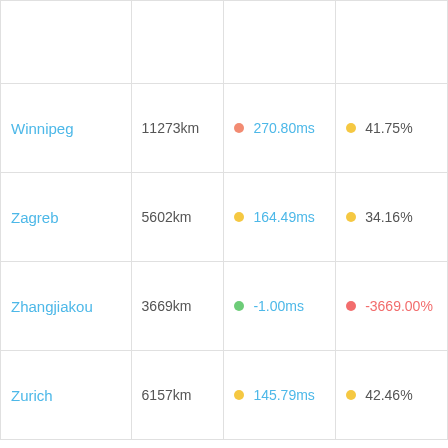| City | Distance | Latency | Loss |
| --- | --- | --- | --- |
|  |  |  |  |
| Winnipeg | 11273km | 270.80ms | 41.75% |
| Zagreb | 5602km | 164.49ms | 34.16% |
| Zhangjiakou | 3669km | -1.00ms | -3669.00% |
| Zurich | 6157km | 145.79ms | 42.46% |